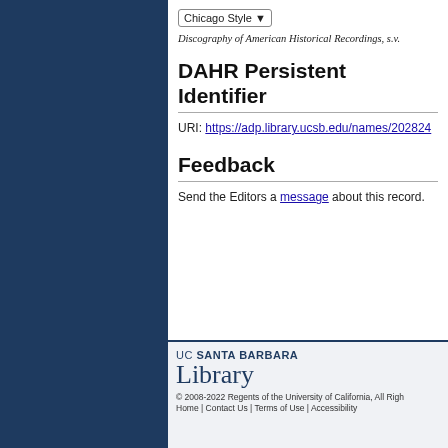Chicago Style ▾
Discography of American Historical Recordings, s.v.
DAHR Persistent Identifier
URI: https://adp.library.ucsb.edu/names/202824
Feedback
Send the Editors a message about this record.
UC SANTA BARBARA Library © 2008-2022 Regents of the University of California, All Rights Reserved. Home | Contact Us | Terms of Use | Accessibility